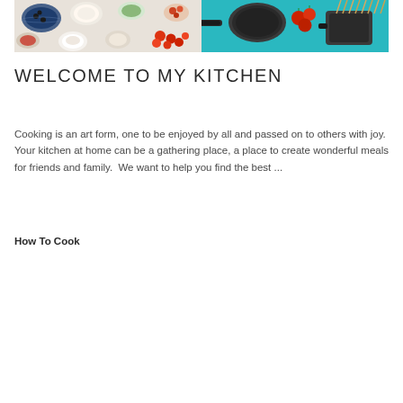[Figure (photo): Two food-related photos side by side: left shows overhead view of various ingredients in bowls (olives, cream, herbs, colorful vegetables); right shows cooking pans and tomatoes on a teal background with pasta]
WELCOME TO MY KITCHEN
Cooking is an art form, one to be enjoyed by all and passed on to others with joy. Your kitchen at home can be a gathering place, a place to create wonderful meals for friends and family. We want to help you find the best ...
How To Cook